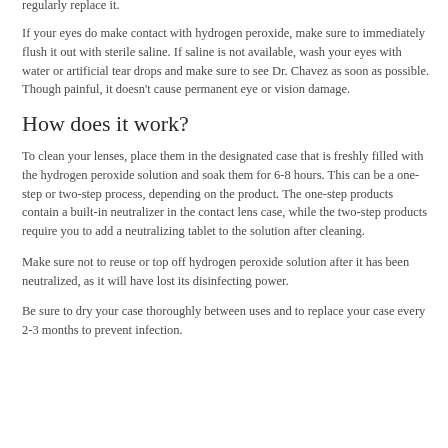regularly replace it.
If your eyes do make contact with hydrogen peroxide, make sure to immediately flush it out with sterile saline. If saline is not available, wash your eyes with water or artificial tear drops and make sure to see Dr. Chavez as soon as possible. Though painful, it doesn't cause permanent eye or vision damage.
How does it work?
To clean your lenses, place them in the designated case that is freshly filled with the hydrogen peroxide solution and soak them for 6-8 hours. This can be a one-step or two-step process, depending on the product. The one-step products contain a built-in neutralizer in the contact lens case, while the two-step products require you to add a neutralizing tablet to the solution after cleaning.
Make sure not to reuse or top off hydrogen peroxide solution after it has been neutralized, as it will have lost its disinfecting power.
Be sure to dry your case thoroughly between uses and to replace your case every 2-3 months to prevent infection.